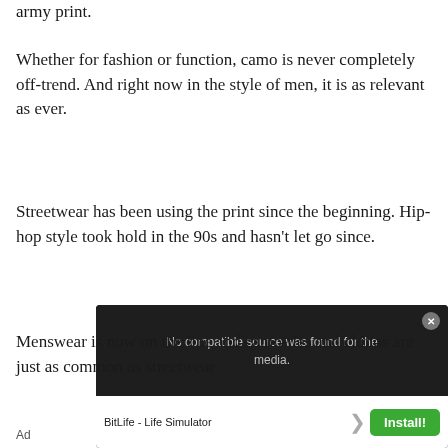army print.
Whether for fashion or function, camo is never completely off-trend. And right now in the style of men, it is as relevant as ever.
Streetwear has been using the print since the beginning. Hip-hop style took hold in the 90s and hasn't let go since.
Menswear is now on the line and camo-ties and chinos are just as common as streetwear
[Figure (screenshot): Ad overlay showing a video player with 'No compatible source was found for this media.' message, BitLife - Life Simulator app ad with green Install button and close button.]